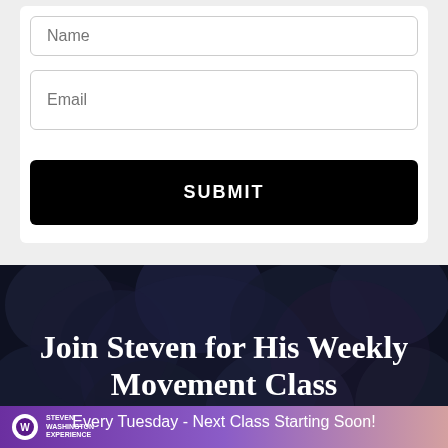[Figure (screenshot): Form with Name and Email input fields and a black SUBMIT button on a light gray background]
Join Steven for His Weekly Movement Class
Every Tuesday - Next Class Starting Soon!
[Figure (logo): Steven Washington Experience logo banner with purple gradient background]